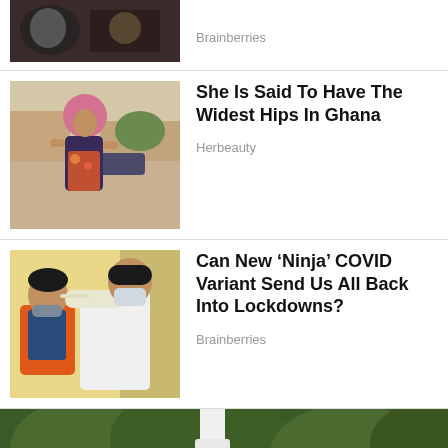[Figure (photo): Partial top article: dark image with mirror reflection, thumbnail only partially visible]
Brainberries
[Figure (photo): Woman with curly pink/orange hair wearing floral outfit on street]
She Is Said To Have The Widest Hips In Ghana
Herbeauty
[Figure (photo): Medical worker in gloves administering COVID nasal swab test to man in orange shirt]
Can New ‘Ninja’ COVID Variant Send Us All Back Into Lockdowns?
Brainberries
[Figure (photo): Large photo of pink roses in bloom against a white fence with green trees in background]